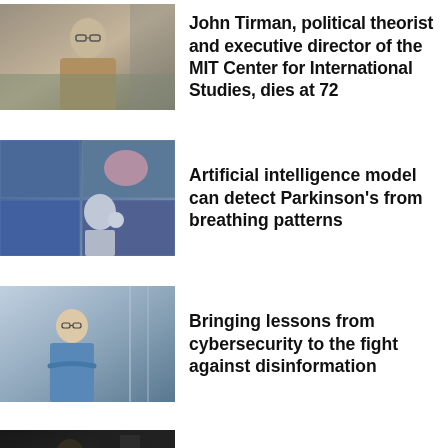[Figure (photo): Portrait photo of an older man with glasses wearing a tan/brown jacket, standing outdoors]
John Tirman, political theorist and executive director of the MIT Center for International Studies, dies at 72
[Figure (photo): Robot figure studying anatomical charts/posters including brain and human body diagrams]
Artificial intelligence model can detect Parkinson's from breathing patterns
[Figure (photo): Woman with glasses in a blue shirt standing in a hallway with arms crossed, smiling]
Bringing lessons from cybersecurity to the fight against disinformation
[Figure (photo): Person in a dark indoor setting, partially visible]
From bridges to DNA: civil engineering across